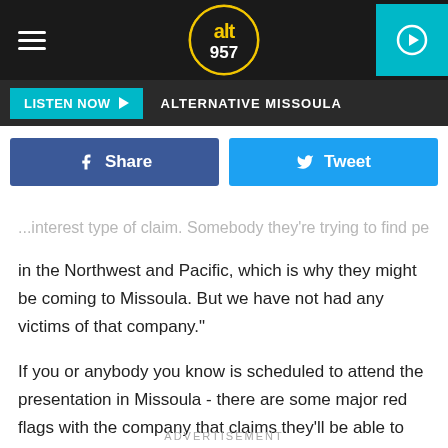[Figure (logo): alt957 radio station logo in a black navigation bar with hamburger menu and teal play button]
LISTEN NOW ▶   ALTERNATIVE MISSOULA
[Figure (infographic): Facebook Share button (blue) and Twitter Tweet button (cyan) side by side]
...interest type of claim. Somebody they're trying to find people in the Northwest and Pacific, which is why they might be coming to Missoula. But we have not had any victims of that company."
If you or anybody you know is scheduled to attend the presentation in Missoula - there are some major red flags with the company that claims they'll be able to help with your situation. Be careful!
ADVERTISEMENT